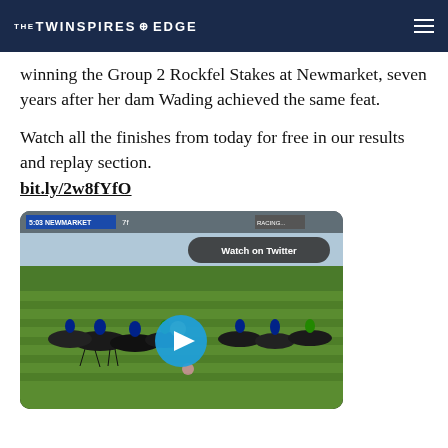THE TWINSPIRES EDGE
winning the Group 2 Rockfel Stakes at Newmarket, seven years after her dam Wading achieved the same feat.
Watch all the finishes from today for free in our results and replay section. bit.ly/2w8fYfO
[Figure (screenshot): Video thumbnail showing a horse race at 5:03 Newmarket, 7 furlongs. A group of racehorses mid-race on a green track. A play button overlay is visible in the center. A 'Watch on Twitter' button appears in the top right area of the video.]